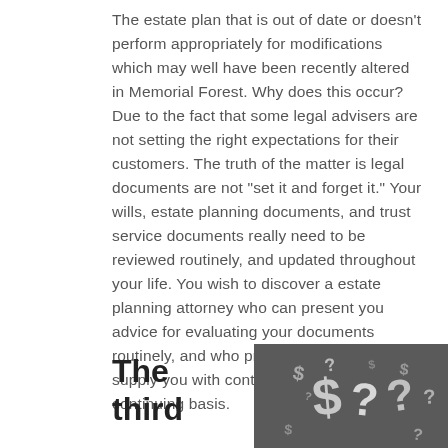The estate plan that is out of date or doesn't perform appropriately for modifications which may well have been recently altered in Memorial Forest. Why does this occur? Due to the fact that some legal advisers are not setting the right expectations for their customers. The truth of the matter is legal documents are not "set it and forget it." Your wills, estate planning documents, and trust service documents really need to be reviewed routinely, and updated throughout your life. You wish to discover a estate planning attorney who can present you advice for evaluating your documents routinely, and who provides a program to supply you with continuing guidelines on a continuing basis.
The third
[Figure (photo): Black and white photo of scattered question mark symbols and dollar signs on a dark background]